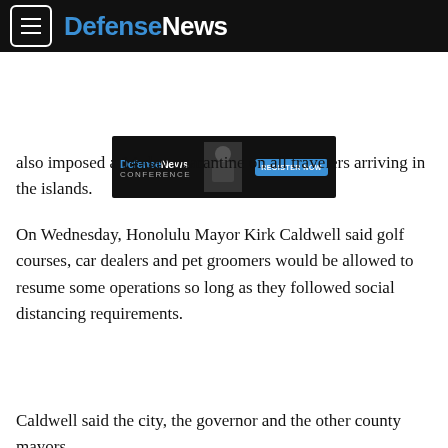DefenseNews
[Figure (screenshot): Defense News Conference advertisement banner with 'REGISTER NOW' button]
also imposed a 14-day quarantine on all travelers arriving in the islands.
On Wednesday, Honolulu Mayor Kirk Caldwell said golf courses, car dealers and pet groomers would be allowed to resume some operations so long as they followed social distancing requirements.
Caldwell said the city, the governor and the other county mayors